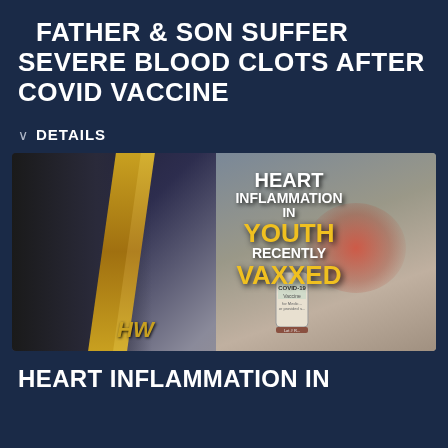FATHER & SON SUFFER SEVERE BLOOD CLOTS AFTER COVID VACCINE
∨  DETAILS
[Figure (infographic): Thumbnail image with text overlays reading 'HEART INFLAMMATION IN YOUTH RECENTLY VAXXED' with a COVID-19 vaccine vial and a person holding their chest. Gold diagonal stripe design with HW logo.]
HEART INFLAMMATION IN